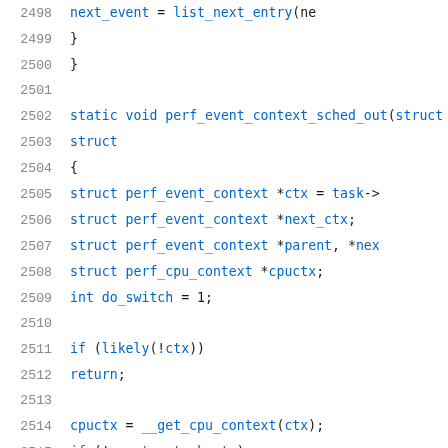2498    next_event = list_next_entry(ne
2499        }
2500    }
2501
2502    static void perf_event_context_sched_out(struct
2503                                         struct
2504    {
2505        struct perf_event_context *ctx = task->
2506        struct perf_event_context *next_ctx;
2507        struct perf_event_context *parent, *nex
2508        struct perf_cpu_context *cpuctx;
2509        int do_switch = 1;
2510
2511        if (likely(!ctx))
2512            return;
2513
2514        cpuctx = __get_cpu_context(ctx);
2515        if (!cpuctx->task_ctx)
2516            return;
2517
2518        rcu_read_lock();